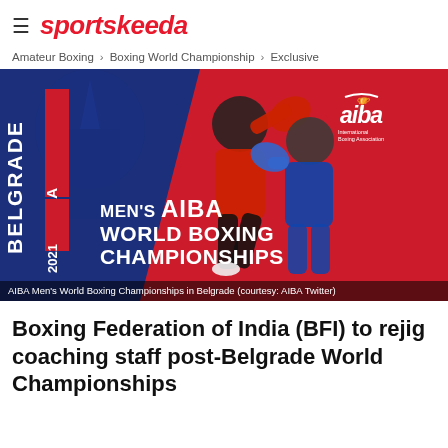≡ sportskeeda
Amateur Boxing > Boxing World Championship > Exclusive
[Figure (photo): AIBA Men's World Boxing Championships promotional banner for Belgrade, Serbia 2021, showing two boxers in action with blue and red background, AIBA logo in top right, and text 'MEN'S AIBA WORLD BOXING CHAMPIONSHIPS']
AIBA Men's World Boxing Championships in Belgrade (courtesy: AIBA Twitter)
Boxing Federation of India (BFI) to rejig coaching staff post-Belgrade World Championships